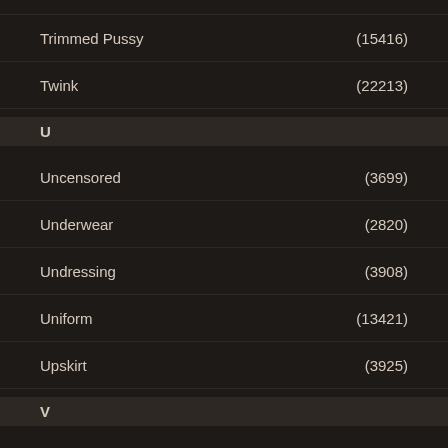Trimmed Pussy (15416)
Twink (22213)
U
Uncensored (3699)
Underwear (2820)
Undressing (3908)
Uniform (13421)
Upskirt (3925)
V
Vagina (7504)
Van (3115)